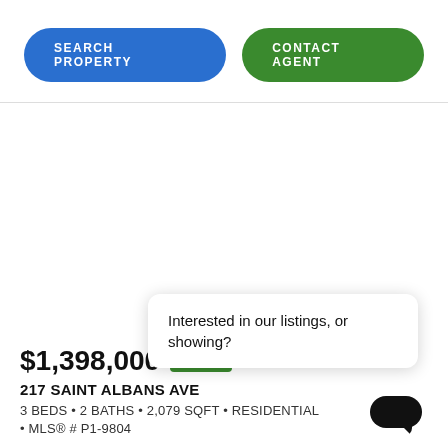SEARCH PROPERTY
CONTACT AGENT
$1,398,000 ↓ $200,0
217 SAINT ALBANS AVE
3 BEDS • 2 BATHS • 2,079 SQFT • RESIDENTIAL
• MLS® # P1-9804
Interested in our listings, or showing?